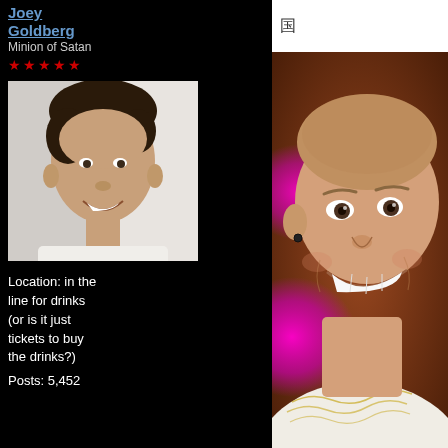Joey Goldberg
Minion of Satan
★★★★★
[Figure (photo): Avatar photo of a young man with dark curly hair, smiling, in a light shirt]
Location: in the line for drinks (or is it just tickets to buy the drinks?)
Posts: 5,452
[Figure (photo): Large photo of a smiling bald/shaved-head man with a small earring, wearing a white embroidered shirt, against a warm brown background with magenta bokeh lighting effects]